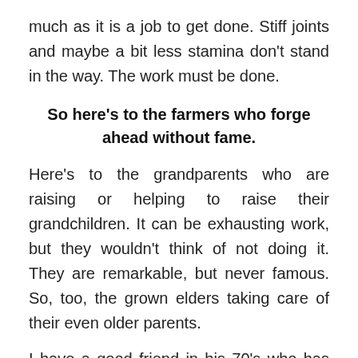much as it is a job to get done. Stiff joints and maybe a bit less stamina don't stand in the way. The work must be done.
So here's to the farmers who forge ahead without fame.
Here's to the grandparents who are raising or helping to raise their grandchildren. It can be exhausting work, but they wouldn't think of not doing it. They are remarkable, but never famous. So, too, the grown elders taking care of their even older parents.
I have a good friend in his 70's who has developed a bad shoulder. He was the point